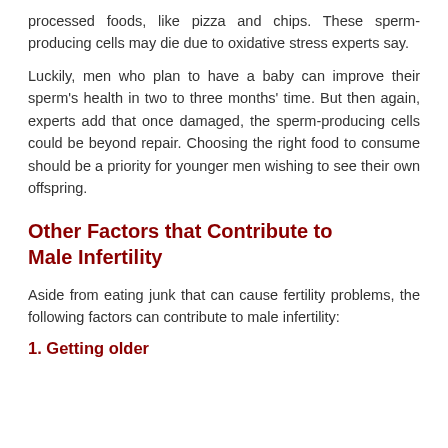processed foods, like pizza and chips. These sperm-producing cells may die due to oxidative stress experts say.
Luckily, men who plan to have a baby can improve their sperm's health in two to three months' time. But then again, experts add that once damaged, the sperm-producing cells could be beyond repair. Choosing the right food to consume should be a priority for younger men wishing to see their own offspring.
Other Factors that Contribute to Male Infertility
Aside from eating junk that can cause fertility problems, the following factors can contribute to male infertility:
1. Getting older